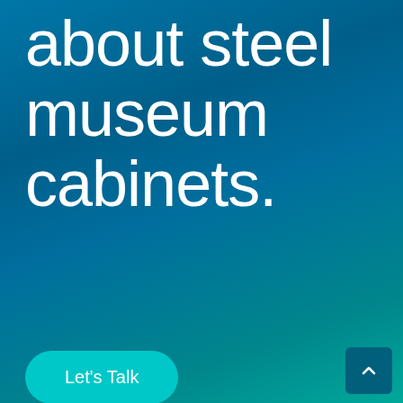about steel museum cabinets.
Let's Talk
Trust your collections to steel museum cabinets that are designed to offer enduring value. We offer preservation cabinets, also called conservation cabinets, that can be